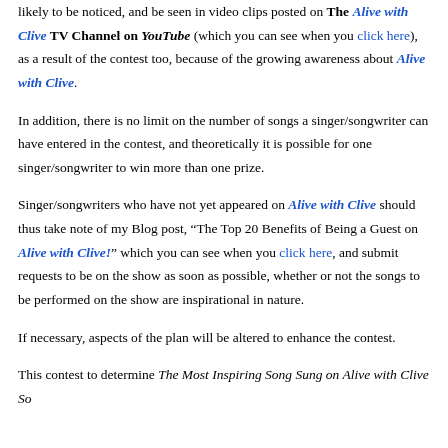likely to be noticed, and be seen in video clips posted on The Alive with Clive TV Channel on YouTube (which you can see when you click here), as a result of the contest too, because of the growing awareness about Alive with Clive.
In addition, there is no limit on the number of songs a singer/songwriter can have entered in the contest, and theoretically it is possible for one singer/songwriter to win more than one prize.
Singer/songwriters who have not yet appeared on Alive with Clive should thus take note of my Blog post, “The Top 20 Benefits of Being a Guest on Alive with Clive!” which you can see when you click here, and submit requests to be on the show as soon as possible, whether or not the songs to be performed on the show are inspirational in nature.
If necessary, aspects of the plan will be altered to enhance the contest.
This contest to determine The Most Inspiring Song Sung on Alive with Clive So